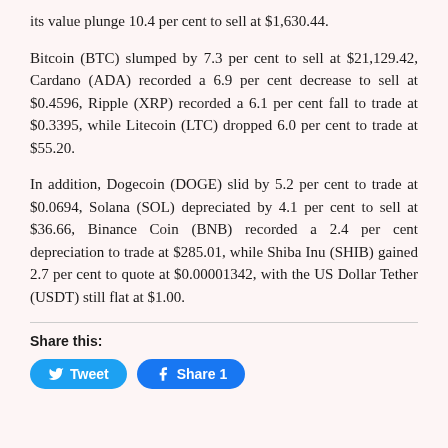its value plunge 10.4 per cent to sell at $1,630.44.
Bitcoin (BTC) slumped by 7.3 per cent to sell at $21,129.42, Cardano (ADA) recorded a 6.9 per cent decrease to sell at $0.4596, Ripple (XRP) recorded a 6.1 per cent fall to trade at $0.3395, while Litecoin (LTC) dropped 6.0 per cent to trade at $55.20.
In addition, Dogecoin (DOGE) slid by 5.2 per cent to trade at $0.0694, Solana (SOL) depreciated by 4.1 per cent to sell at $36.66, Binance Coin (BNB) recorded a 2.4 per cent depreciation to trade at $285.01, while Shiba Inu (SHIB) gained 2.7 per cent to quote at $0.00001342, with the US Dollar Tether (USDT) still flat at $1.00.
Share this:
[Figure (other): Tweet button and Facebook Share 1 button]